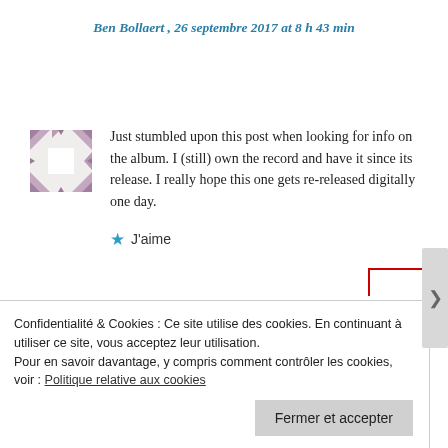Ben Bollaert , 26 septembre 2017 at 8 h 43 min
Just stumbled upon this post when looking for info on the album. I (still) own the record and have it since its release. I really hope this one gets re-released digitally one day.
★ J'aime
Confidentialité & Cookies : Ce site utilise des cookies. En continuant à utiliser ce site, vous acceptez leur utilisation.
Pour en savoir davantage, y compris comment contrôler les cookies, voir : Politique relative aux cookies
Fermer et accepter